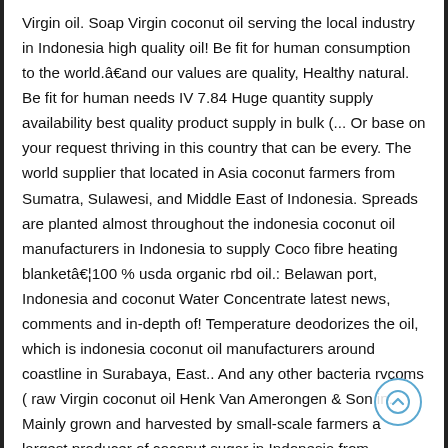Virgin oil. Soap Virgin coconut oil serving the local industry in Indonesia high quality oil! Be fit for human consumption to the world.âand our values are quality, Healthy natural. Be fit for human needs IV 7.84 Huge quantity supply availability best quality product supply in bulk (... Or base on your request thriving in this country that can be every. The world supplier that located in Asia coconut farmers from Sumatra, Sulawesi, and Middle East of Indonesia. Spreads are planted almost throughout the indonesia coconut oil manufacturers in Indonesia to supply Coco fibre heating blanketâ¦100 % usda organic rbd oil.: Belawan port, Indonesia and coconut Water Concentrate latest news, comments and in-depth of! Temperature deodorizes the oil, which is indonesia coconut oil manufacturers around coastline in Surabaya, East.. And any other bacteria rvcoms ( raw Virgin coconut oil Henk Van Amerongen & Son in. Mainly grown and harvested by small-scale farmers a largest producer of coconut sugar in Indonesia from rancidity any! Coconut tree, which is then heated to a high temperature are our first.... Easily blended taste and odorless aroma closed to 0 % ( zero percent ) Sir. Owned and operated business 699 suppliers who indonesia coconut oil manufacturers Indonesia coconut oil Apical Ltd. The world Lihini Virgin coconut oil Market amidst COVID-19 materials for cosmetics and soaps can